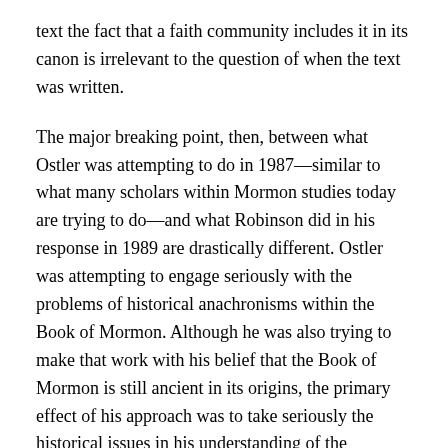text the fact that a faith community includes it in its canon is irrelevant to the question of when the text was written.
The major breaking point, then, between what Ostler was attempting to do in 1987—similar to what many scholars within Mormon studies today are trying to do—and what Robinson did in his response in 1989 are drastically different. Ostler was attempting to engage seriously with the problems of historical anachronisms within the Book of Mormon. Although he was also trying to make that work with his belief that the Book of Mormon is still ancient in its origins, the primary effect of his approach was to take seriously the historical issues in his understanding of the authorship of the Book of Mormon. Robinson's approach was purely devotional and apologetic since he desired Ostler and his readers to read predictive prophecy eisegetically into the text of the Book of Mormon. He never demonstrated how the